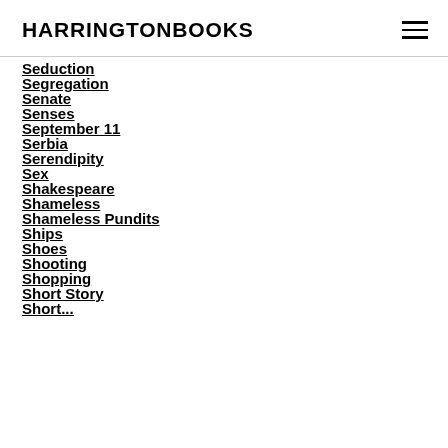HARRINGTONBOOKS
Seduction
Segregation
Senate
Senses
September 11
Serbia
Serendipity
Sex
Shakespeare
Shameless
Shameless Pundits
Ships
Shoes
Shooting
Shopping
Short Story
Short...